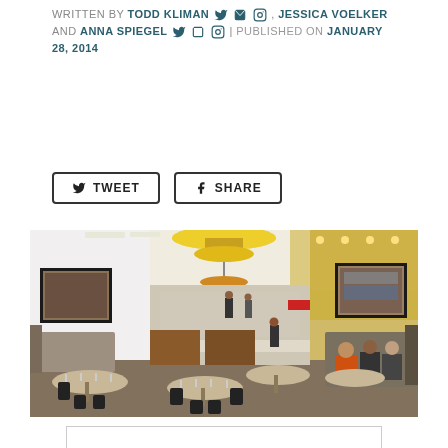WRITTEN BY TODD KLIMAN , ANN LIMPERT , JESSICA VOELKER AND ANNA SPIEGEL | PUBLISHED ON JANUARY 28, 2014
[Figure (other): Social sharing buttons: TWEET and SHARE]
[Figure (photo): Interior photo of a restaurant dining room with yellow walls, round tables set for dining, booth seating on the right, framed artwork on walls, pendant lights hanging from ceiling, and kitchen visible in background]
[Figure (other): Advertisement placeholder box with light gray border]